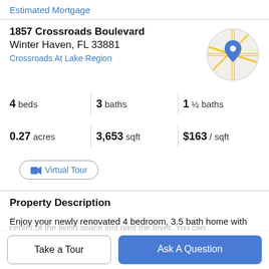Estimated Mortgage
1857 Crossroads Boulevard
Winter Haven, FL 33881
Crossroads At Lake Region
[Figure (map): Circular map thumbnail showing street map with a blue location pin marker]
4 beds   3 baths   1 ½ baths
0.27 acres   3,653 sqft   $163 / sqft
Virtual Tour
Property Description
Enjoy your newly renovated 4 bedroom, 3.5 bath home with an office that is currently used as a nursery. This
Take a Tour
Ask A Question
center of the living space just past the foyer. You can